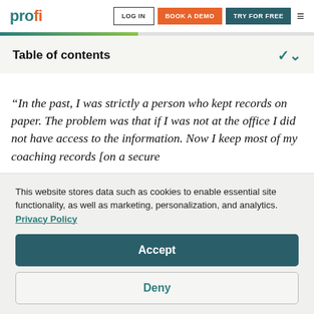profi | LOG IN | BOOK A DEMO | TRY FOR FREE
Table of contents
“In the past, I was strictly a person who kept records on paper. The problem was that if I was not at the office I did not have access to the information. Now I keep most of my coaching records [on a secure
This website stores data such as cookies to enable essential site functionality, as well as marketing, personalization, and analytics. Privacy Policy
Accept
Deny